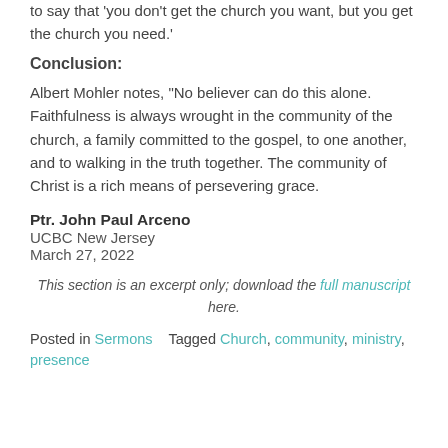to say that 'you don't get the church you want, but you get the church you need.'
Conclusion:
Albert Mohler notes, “No believer can do this alone. Faithfulness is always wrought in the community of the church, a family committed to the gospel, to one another, and to walking in the truth together. The community of Christ is a rich means of persevering grace.
Ptr. John Paul Arceno
UCBC New Jersey
March 27, 2022
This section is an excerpt only; download the full manuscript here.
Posted in Sermons   Tagged Church, community, ministry, presence